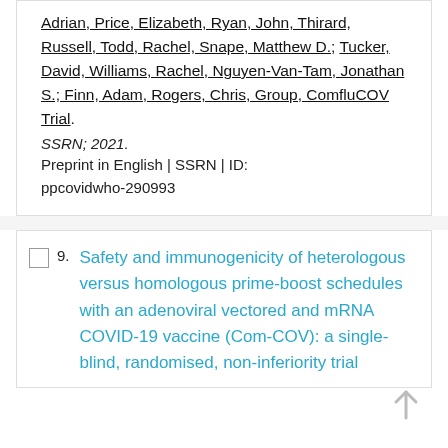Adrian, Price, Elizabeth, Ryan, John, Thirard, Russell, Todd, Rachel, Snape, Matthew D.; Tucker, David, Williams, Rachel, Nguyen-Van-Tam, Jonathan S.; Finn, Adam, Rogers, Chris, Group, ComfluCOV Trial. SSRN; 2021. Preprint in English | SSRN | ID: ppcovidwho-290993
9. Safety and immunogenicity of heterologous versus homologous prime-boost schedules with an adenoviral vectored and mRNA COVID-19 vaccine (Com-COV): a single-blind, randomised, non-inferiority trial